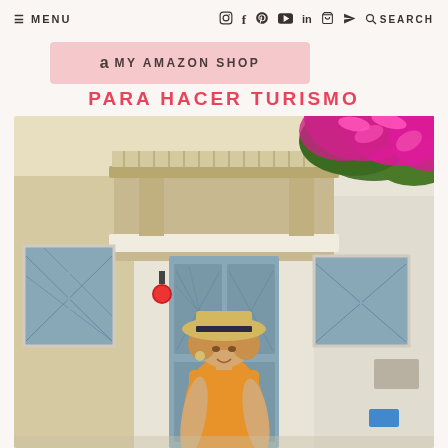≡ MENU   [instagram] [facebook] [pinterest] [youtube] [linkedin] [bag] [send]   🔍 SEARCH
a MY AMAZON SHOP
PARA HACER TURISMO
[Figure (photo): Woman with curly hair wearing a straw hat and orange top, standing in front of a white Mediterranean building with blue shuttered doors and windows. Bright magenta/pink bougainvillea flowers visible in upper right corner.]